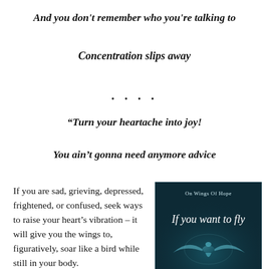And you don't remember who you're talking to
Concentration slips away
....
“Turn your heartache into joy!
You ain’t gonna need anymore advice
If you are sad, grieving, depressed, frightened, or confused, seek ways to raise your heart’s vibration – it will give you the wings to, figuratively, soar like a bird while still in your body.
[Figure (illustration): Book cover with dark teal/dark background showing a bird and the text 'On Wings Of Hope' and 'If you want to fly' in cursive white script.]